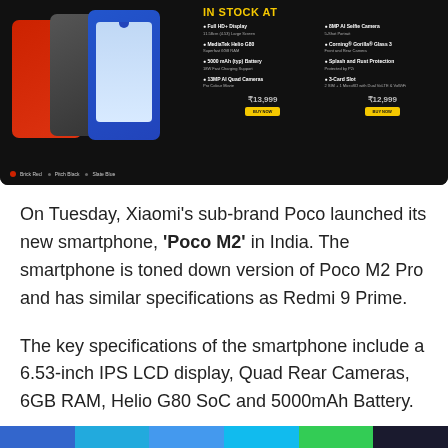[Figure (photo): Xiaomi Poco M2 smartphone advertisement banner on dark background showing three phones in Brick Red, Pitch Black, and Slate Blue colors with specifications listed on the right including Full HD+ Display, MediaTek Helio G80, 5000mAh Battery, 13MP AI Quad Cameras, 8MP AI Selfie Camera, Corning Gorilla Glass 3, Splash and Rust Protection, and 3-Card Slot. Two price points shown with yellow Buy Now buttons.]
On Tuesday, Xiaomi's sub-brand Poco launched its new smartphone, 'Poco M2' in India. The smartphone is toned down version of Poco M2 Pro and has similar specifications as Redmi 9 Prime.
The key specifications of the smartphone include a 6.53-inch IPS LCD display, Quad Rear Cameras, 6GB RAM, Helio G80 SoC and 5000mAh Battery.